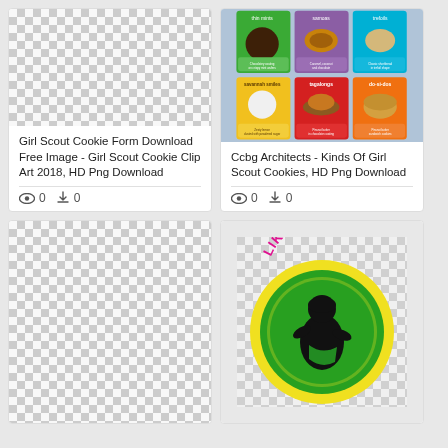[Figure (screenshot): Card 1: Checkerboard transparent image placeholder for Girl Scout Cookie Form Download]
Girl Scout Cookie Form Download Free Image - Girl Scout Cookie Clip Art 2018, HD Png Download
0 views, 0 downloads
[Figure (photo): Card 2: Girl Scout Cookies variety card showing thin mints, samoas, trefoils, snowballs, tagalongs, and do-si-dos with colored headers]
Ccbg Architects - Kinds Of Girl Scout Cookies, HD Png Download
0 views, 0 downloads
[Figure (photo): Card 3: Checkerboard transparent image placeholder (partially visible, bottom left)]
[Figure (illustration): Card 4: Like A Boss circular logo with green/yellow border, black silhouette of girl scout figure, pink text 'LIKE A BOSS']